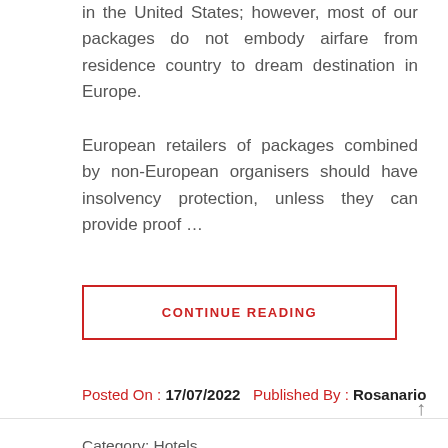in the United States; however, most of our packages do not embody airfare from residence country to dream destination in Europe.
European retailers of packages combined by non-European organisers should have insolvency protection, unless they can provide proof ...
CONTINUE READING
Posted On : 17/07/2022   Published By : Rosanario
Category:  Hotels